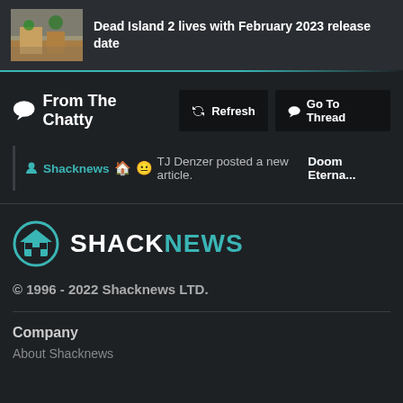Dead Island 2 lives with February 2023 release date
From The Chatty
Shacknews 🏠 😐 TJ Denzer posted a new article. Doom Eterna...
[Figure (logo): Shacknews logo with house icon in teal circle and SHACKNEWS text]
© 1996 - 2022 Shacknews LTD.
Company
About Shacknews